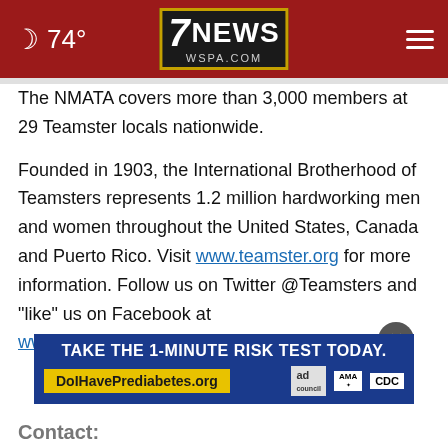74° | 7NEWS WSPA.COM
The NMATA covers more than 3,000 members at 29 Teamster locals nationwide.
Founded in 1903, the International Brotherhood of Teamsters represents 1.2 million hardworking men and women throughout the United States, Canada and Puerto Rico. Visit www.teamster.org for more information. Follow us on Twitter @Teamsters and "like" us on Facebook at www.facebook.com/teamsters
[Figure (screenshot): Advertisement banner: TAKE THE 1-MINUTE RISK TEST TODAY. DolHavePrediabetes.org with ad council, AMA, and CDC logos]
Contact: